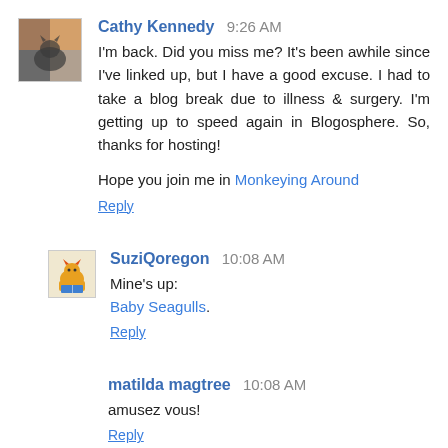Cathy Kennedy 9:26 AM
I'm back. Did you miss me? It's been awhile since I've linked up, but I have a good excuse. I had to take a blog break due to illness & surgery. I'm getting up to speed again in Blogosphere. So, thanks for hosting!
Hope you join me in Monkeying Around
Reply
SuziQoregon 10:08 AM
Mine's up:
Baby Seagulls.
Reply
matilda magtree 10:08 AM
amusez vous!
Reply